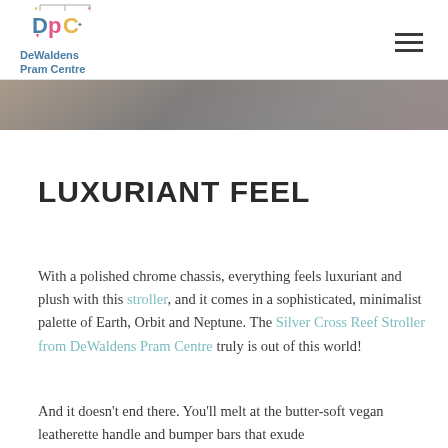DeWaldens Pram Centre
[Figure (photo): Partial view of a pram/stroller photo strip cropped at the top of the content area]
LUXURIANT FEEL
With a polished chrome chassis, everything feels luxuriant and plush with this stroller, and it comes in a sophisticated, minimalist palette of Earth, Orbit and Neptune. The Silver Cross Reef Stroller from DeWaldens Pram Centre truly is out of this world!
And it doesn’t end there. You’ll melt at the butter-soft vegan leatherette handle and bumper bars that exude